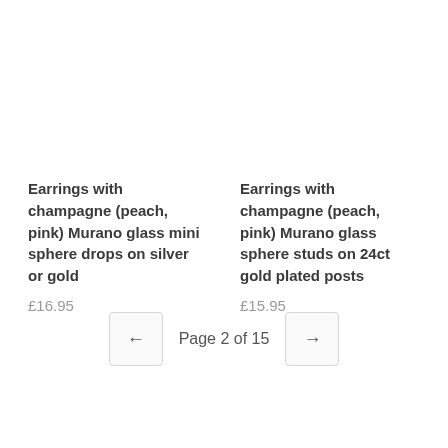Earrings with champagne (peach, pink) Murano glass mini sphere drops on silver or gold
£16.95
Earrings with champagne (peach, pink) Murano glass sphere studs on 24ct gold plated posts
£15.95
Page 2 of 15